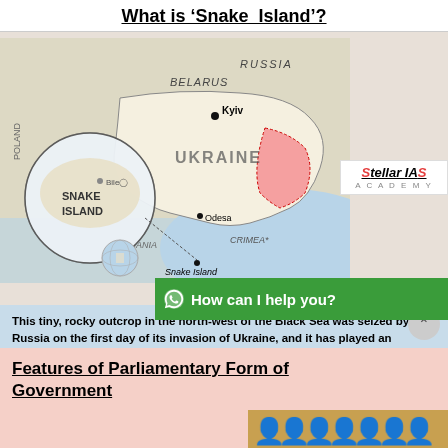What is 'Snake Island'?
[Figure (map): Map showing Snake Island location in the Black Sea near Ukraine, with a circular inset highlighting Snake Island near Odesa, showing surrounding countries Belarus, Russia, Poland, Romania, Ukraine, and Crimea. City labels: Kyiv, Odesa, Snake Island, Bile. Eastern Ukraine shown with red/pink conflict zones.]
[Figure (logo): Stellar IAS Academy logo]
[Figure (infographic): WhatsApp chat button with text: How can I help you?]
This tiny, rocky outcrop in the north-west of the Black Sea was seized by Russia on the first day of its invasion of Ukraine, and it has played an outsized role in the war ver since.After more than four months of repeated Ukrainian bombardment, Russian forces have abandoned Snake or Zmiinyi Island, as it is known in Ukraine.
Features of Parliamentary Form of Government